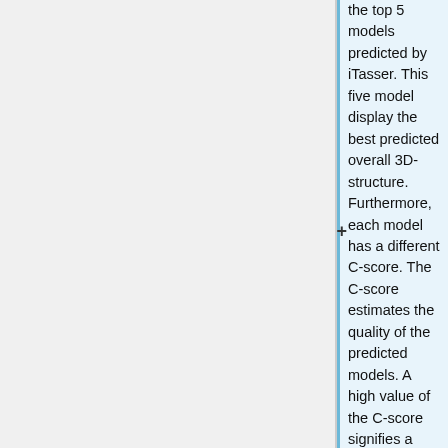the top 5 models predicted by iTasser. This five model display the best predicted overall 3D-structure. Furthermore, each model has a different C-score. The C-score estimates the quality of the predicted models. A high value of the C-score signifies a model with high confidence and vice-versa. The range of the C-score goes normally from -5 to 2.  For 3CUI the C-score goes from about -3.4 to 0.4. The C-score indicates that the most confident